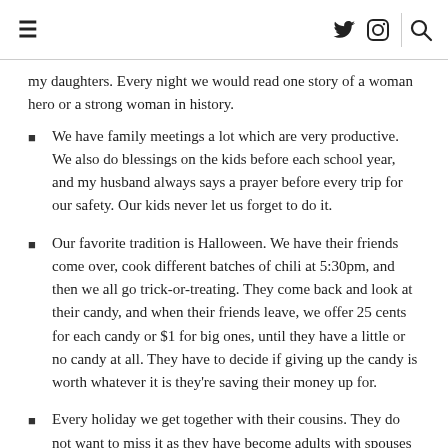≡  🐦 📷 | 🔍
my daughters. Every night we would read one story of a woman hero or a strong woman in history.
We have family meetings a lot which are very productive. We also do blessings on the kids before each school year, and my husband always says a prayer before every trip for our safety. Our kids never let us forget to do it.
Our favorite tradition is Halloween. We have their friends come over, cook different batches of chili at 5:30pm, and then we all go trick-or-treating. They come back and look at their candy, and when their friends leave, we offer 25 cents for each candy or $1 for big ones, until they have a little or no candy at all. They have to decide if giving up the candy is worth whatever it is they're saving their money up for.
Every holiday we get together with their cousins. They do not want to miss it as they have become adults with spouses and boyfriends. It's so great and as tired as we